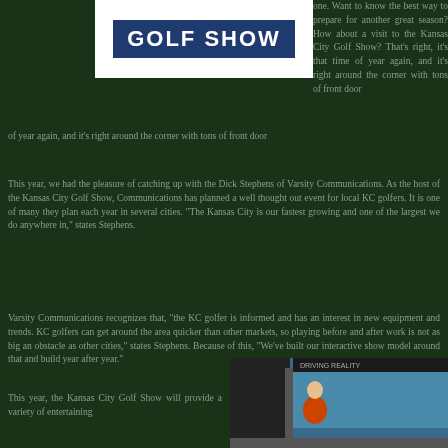[Figure (logo): Kansas City Golf Show logo — white rectangle containing blue banner with text 'GOLF SHOW' in white bold letters]
one. Want to know the best way to prepare for another great season? How about a visit to the Kansas City Golf Show? That's right, it's that time of year again, and it's right around the corner with tons of front door
This year, we had the pleasure of catching up with the Dick Stephens of Varsity Communications. As the host of the Kansas City Golf Show, Communications has planned a well thought out event for local KC golfers. It is one of many they plan each year in several cities. "The Kansas City is our fastest growing and one of the largest we do anywhere in," states Stephens.
Varsity Communications recognizes that, "the KC golfer is informed and has an interest in new equipment and trends. KC golfers can get around the area quicker than other markets, so playing before and after work is not as big an obstacle as other cities," states Stephens. Because of this, "We've built our interactive show model around that and build year after year."
This year, the Kansas City Golf Show will provide a variety of entertaining
[Figure (photo): Photo of a person in an orange jacket at what appears to be a golf show exhibit or indoor simulator setup]